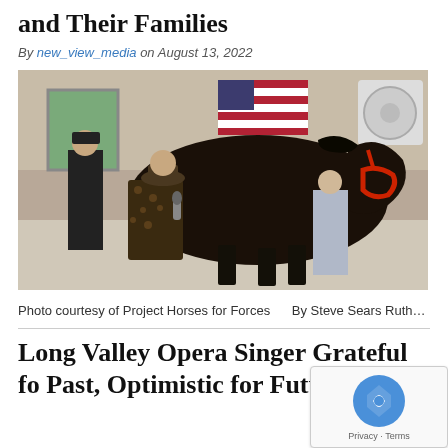and Their Families
By new_view_media on August 13, 2022
[Figure (photo): A woman in a leopard-print top kneeling beside a large dark brown/black horse with a red halter, inside a barn-like indoor space. Another person in black stands in the background near the wall decorated with an American flag.]
Photo courtesy of Project Horses for Forces       By Steve Sears Ruth…
Long Valley Opera Singer Grateful fo Past, Optimistic for Future